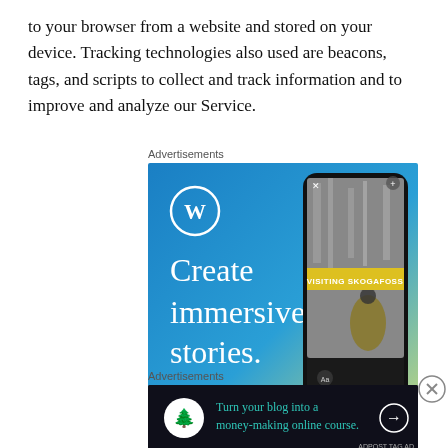to your browser from a website and stored on your device. Tracking technologies also used are beacons, tags, and scripts to collect and track information and to improve and analyze our Service.
Advertisements
[Figure (illustration): WordPress advertisement: blue-to-yellow gradient background with WordPress logo (W in circle), large white text 'Create immersive stories.', white text 'GET THE APP', and a smartphone showing a travel blog post titled 'VISITING SKOGAFOSS' with a person in a yellow jacket near a waterfall.]
[Figure (illustration): Close button (X in circle) to the right of the first advertisement.]
Advertisements
[Figure (illustration): Dark advertisement banner: black background with a tree/person icon in a white circle on the left, teal/green text 'Turn your blog into a money-making online course.' and a white arrow pointing right.]